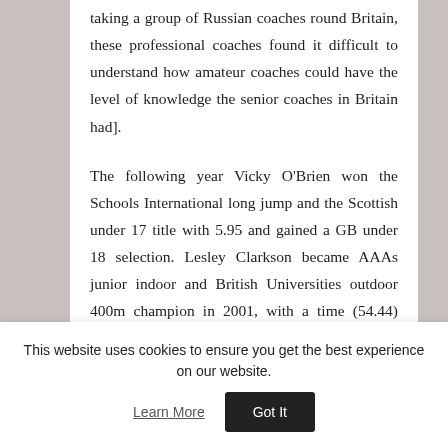taking a group of Russian coaches round Britain, these professional coaches found it difficult to understand how amateur coaches could have the level of knowledge the senior coaches in Britain had].
The following year Vicky O'Brien won the Schools International long jump and the Scottish under 17 title with 5.95 and gained a GB under 18 selection. Lesley Clarkson became AAAs junior indoor and British Universities outdoor 400m champion in 2001, with a time (54.44) which qualified her for the European Juniors, in advance of making the 4 x 400 pool for the Manchester Commonwealth Games.
This website uses cookies to ensure you get the best experience on our website. Learn More Got It